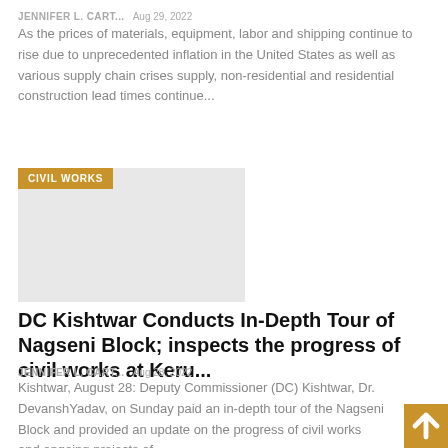JENNIFER L. CART...   Aug 29, 2022
As the prices of materials, equipment, labor and shipping continue to rise due to unprecedented inflation in the United States as well as various supply chain crises supply, non-residential and residential construction lead times continue...
[Figure (photo): Gray placeholder image with 'CIVIL WORKS' orange badge overlay]
DC Kishtwar Conducts In-Depth Tour of Nagseni Block; inspects the progress of civil works at Keru...
JENNIFER L. CART...   Aug 28, 2022
Kishtwar, August 28: Deputy Commissioner (DC) Kishtwar, Dr. DevanshYadav, on Sunday paid an in-depth tour of the Nagseni Block and provided an update on the progress of civil works and ongoing projects of...